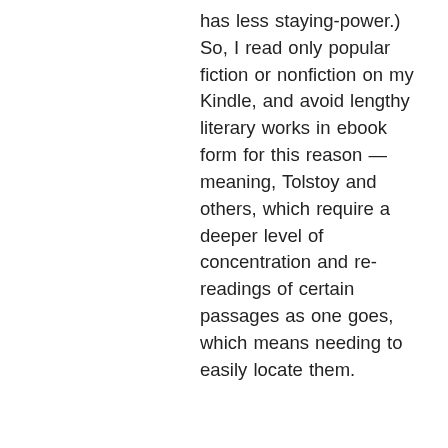has less staying-power.) So, I read only popular fiction or nonfiction on my Kindle, and avoid lengthy literary works in ebook form for this reason — meaning, Tolstoy and others, which require a deeper level of concentration and re-readings of certain passages as one goes, which means needing to easily locate them.